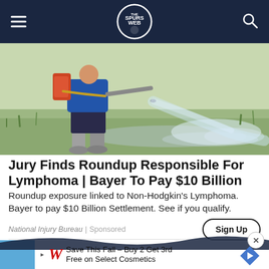The Spurs Web — navigation header with hamburger menu, logo, and search icon
[Figure (photo): Person wearing blue jacket and rubber boots, using a backpack sprayer to spray herbicide over a flooded green field]
Jury Finds Roundup Responsible For Lymphoma | Bayer To Pay $10 Billion
Roundup exposure linked to Non-Hodgkin's Lymphoma. Bayer to pay $10 Billion Settlement. See if you qualify.
National Injury Bureau | Sponsored
Sign Up
[Figure (screenshot): Advertisement banner: Save This Fall - Buy 2 Get 3rd Free on Select Cosmetics — Walgreens ad with logo, blue background strip, wave decoration, close button, and blue diamond navigation arrow]